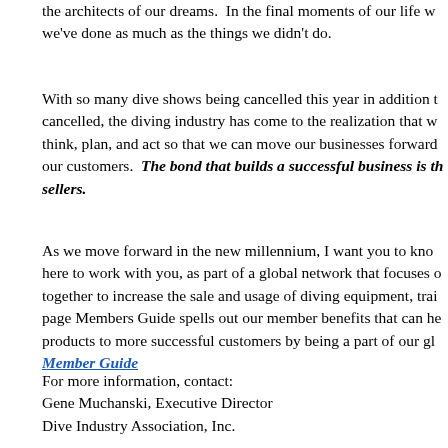the architects of our dreams.  In the final moments of our life we've done as much as the things we didn't do.
With so many dive shows being cancelled this year in addition to cancelled, the diving industry has come to the realization that we think, plan, and act so that we can move our businesses forward our customers.  The bond that builds a successful business is the sellers.
As we move forward in the new millennium, I want you to know here to work with you, as part of a global network that focuses together to increase the sale and usage of diving equipment, training page Members Guide spells out our member benefits that can help products to more successful customers by being a part of our global Member Guide
For more information, contact:
Gene Muchanski, Executive Director
Dive Industry Association, Inc.